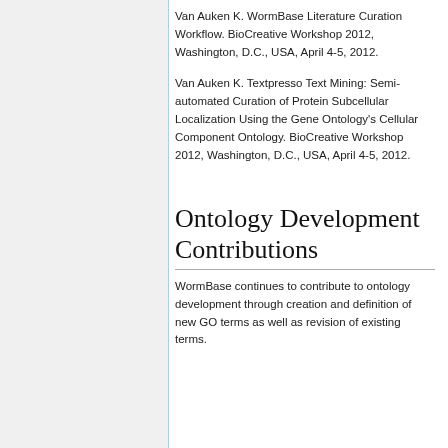Van Auken K. WormBase Literature Curation Workflow. BioCreative Workshop 2012, Washington, D.C., USA, April 4-5, 2012.
Van Auken K. Textpresso Text Mining: Semi-automated Curation of Protein Subcellular Localization Using the Gene Ontology's Cellular Component Ontology. BioCreative Workshop 2012, Washington, D.C., USA, April 4-5, 2012.
Ontology Development Contributions
WormBase continues to contribute to ontology development through creation and definition of new GO terms as well as revision of existing terms.